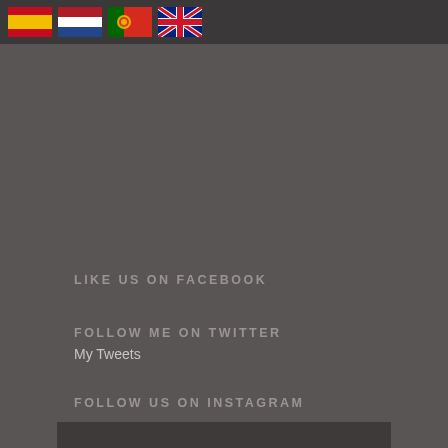[Figure (illustration): Top navigation bar with four country flags: Spain, Netherlands, Portugal, United Kingdom]
LIKE US ON FACEBOOK
FOLLOW ME ON TWITTER
My Tweets
FOLLOW US ON INSTAGRAM
[Figure (photo): Partial dark Instagram image visible at the bottom of the page]